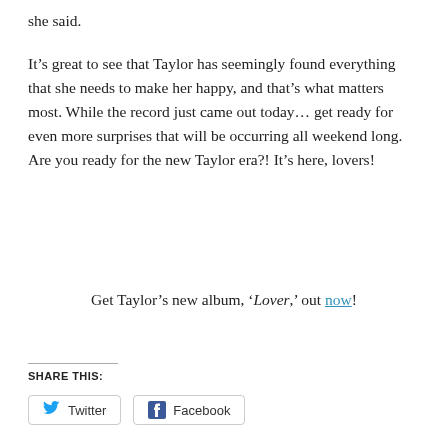she said.
It’s great to see that Taylor has seemingly found everything that she needs to make her happy, and that’s what matters most. While the record just came out today… get ready for even more surprises that will be occurring all weekend long. Are you ready for the new Taylor era?! It’s here, lovers!
Get Taylor’s new album, ‘Lover,’ out now!
SHARE THIS:
Twitter
Facebook